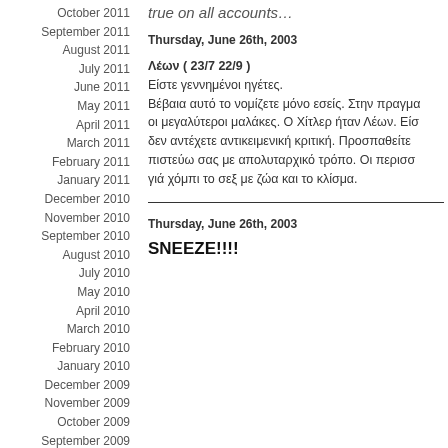October 2011
September 2011
August 2011
July 2011
June 2011
May 2011
April 2011
March 2011
February 2011
January 2011
December 2010
November 2010
September 2010
August 2010
July 2010
May 2010
April 2010
March 2010
February 2010
January 2010
December 2009
November 2009
October 2009
September 2009
August 2009
July 2009
June 2009
May 2009
April 2009
March 2009
true on all accounts…
Thursday, June 26th, 2003
Λέων ( 23/7 22/9 )
Είστε γεννημένοι ηγέτες.
Βέβαια αυτό το νομίζετε μόνο εσείς. Στην πραγμα... οι μεγαλύτεροι μαλάκες. Ο Χίτλερ ήταν Λέων. Είσ... δεν αντέχετε αντικειμενική κριτική. Προσπαθείτε... πιστεύω σας με απολυταρχικό τρόπο. Οι περισσ... γιά χόμπι το σεξ με ζώα και το κλίσμα.
Thursday, June 26th, 2003
SNEEZE!!!!